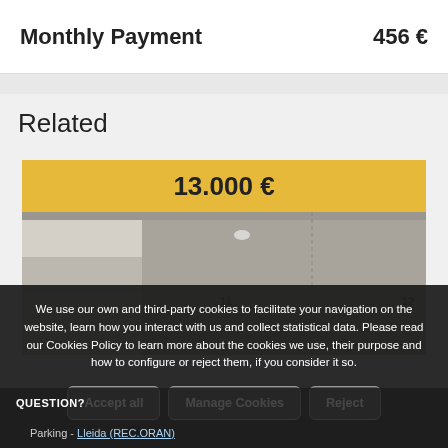|  |  |
| --- | --- |
| Monthly Payment | 456 € |
Related
[Figure (photo): Parking space photo with price overlay showing 13.000€ and number labels 11 and 12]
We use our own and third-party cookies to facilitate your navigation on the website, learn how you interact with us and collect statistical data. Please read our Cookies Policy to learn more about the cookies we use, their purpose and how to configure or reject them, if you consider it so.
Accept all   Manage Cookies   Reject
QUESTION?
Parking - Lleida (REC.ORAN)